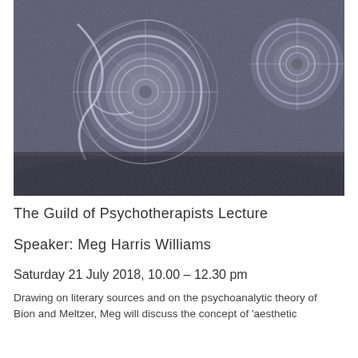[Figure (photo): Black and white photograph of ammonite fossils showing spiral shell patterns with detailed ridged textures, positioned on a rocky surface]
The Guild of Psychotherapists Lecture
Speaker: Meg Harris Williams
Saturday 21 July 2018, 10.00 – 12.30 pm
Drawing on literary sources and on the psychoanalytic theory of Bion and Meltzer, Meg will discuss the concept of 'aesthetic